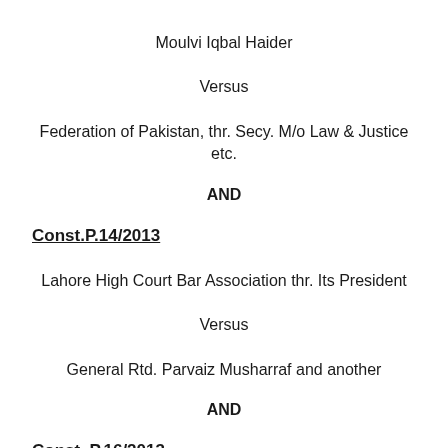Moulvi Iqbal Haider
Versus
Federation of Pakistan, thr. Secy. M/o Law & Justice etc.
AND
Const.P.14/2013
Lahore High Court Bar Association thr. Its President
Versus
General Rtd. Parvaiz Musharraf and another
AND
Const. P.16/2013